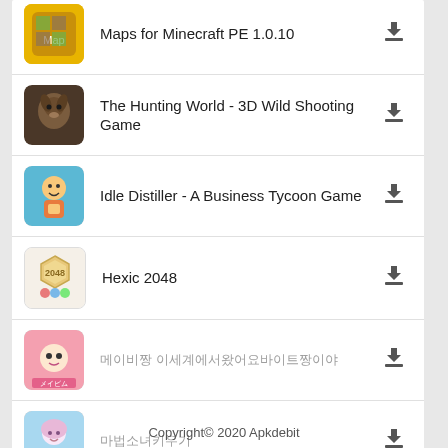Maps for Minecraft PE 1.0.10
The Hunting World - 3D Wild Shooting Game
Idle Distiller - A Business Tycoon Game
Hexic 2048
메이플스토리M (Japanese app title)
Japanese app title 2
Copyright© 2020 Apkdebit